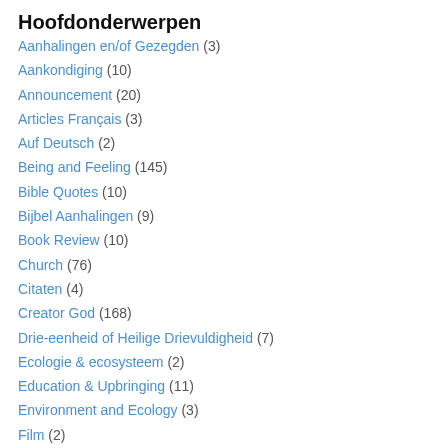Hoofdonderwerpen
Aanhalingen en/of Gezegden (3)
Aankondiging (10)
Announcement (20)
Articles Français (3)
Auf Deutsch (2)
Being and Feeling (145)
Bible Quotes (10)
Bijbel Aanhalingen (9)
Book Review (10)
Church (76)
Citaten (4)
Creator God (168)
Drie-eenheid of Heilige Drievuldigheid (7)
Ecologie & ecosysteem (2)
Education & Upbringing (11)
Environment and Ecology (3)
Film (2)
Filosofie (10)
Geschiedenis (29)